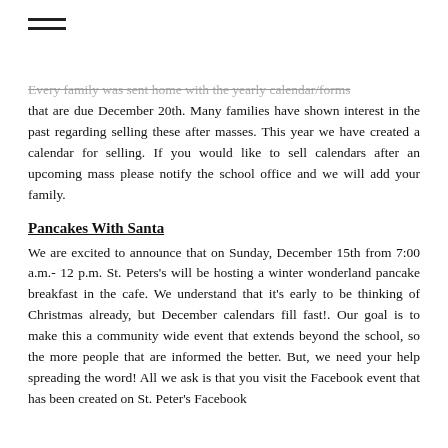Every family was sent home with the yearly calendar/forms that are due December 20th. Many families have shown interest in the past regarding selling these after masses. This year we have created a calendar for selling. If you would like to sell calendars after an upcoming mass please notify the school office and we will add your family.
Pancakes With Santa
We are excited to announce that on Sunday, December 15th from 7:00 a.m.- 12 p.m. St. Peters's will be hosting a winter wonderland pancake breakfast in the cafe. We understand that it's early to be thinking of Christmas already, but December calendars fill fast!. Our goal is to make this a community wide event that extends beyond the school, so the more people that are informed the better. But, we need your help spreading the word! All we ask is that you visit the Facebook event that has been created on St. Peter's Facebook